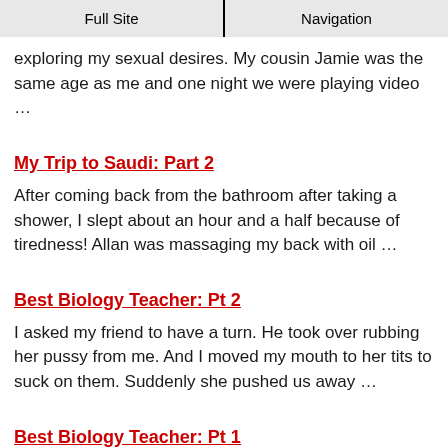Full Site | Navigation
exploring my sexual desires. My cousin Jamie was the same age as me and one night we were playing video …
My Trip to Saudi: Part 2
After coming back from the bathroom after taking a shower, I slept about an hour and a half because of tiredness! Allan was massaging my back with oil …
Best Biology Teacher: Pt 2
I asked my friend to have a turn. He took over rubbing her pussy from me. And I moved my mouth to her tits to suck on them. Suddenly she pushed us away …
Best Biology Teacher: Pt 1
It was in my first 70 school year of exploring hi…